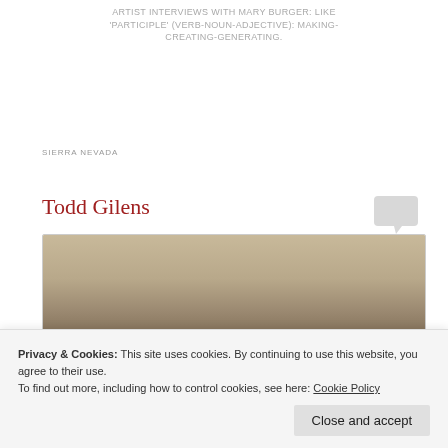ARTIST INTERVIEWS WITH MARY BURGER: LIKE 'PARTICIPLE' (VERB-NOUN-ADJECTIVE): MAKING-CREATING-GENERATING.
SIERRA NEVADA
Todd Gilens
[Figure (photo): Interior room photograph showing what appears to be a kitchen or workspace with beige/tan walls and cabinetry]
Privacy & Cookies: This site uses cookies. By continuing to use this website, you agree to their use.
To find out more, including how to control cookies, see here: Cookie Policy
Close and accept